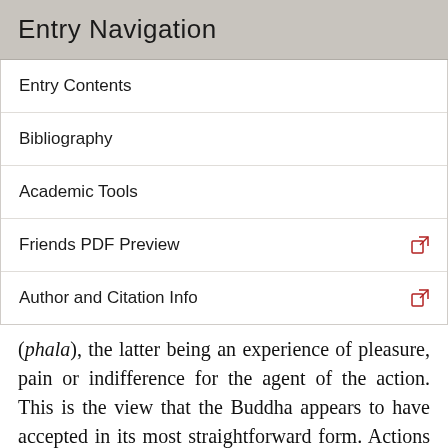Entry Navigation
Entry Contents
Bibliography
Academic Tools
Friends PDF Preview
Author and Citation Info
(phala), the latter being an experience of pleasure, pain or indifference for the agent of the action. This is the view that the Buddha appears to have accepted in its most straightforward form. Actions are said to be of three types: bodily, verbal and mental. The Buddha insists, however, that by action is meant not the movement or change involved, but rather the volition or intention that brought about the change. As Gombrich (2009) points out, the Buddha's insistence on this point reflects the transition from an earlier ritualistic view of action to a view that brings action within the purview of ethics. For it is when